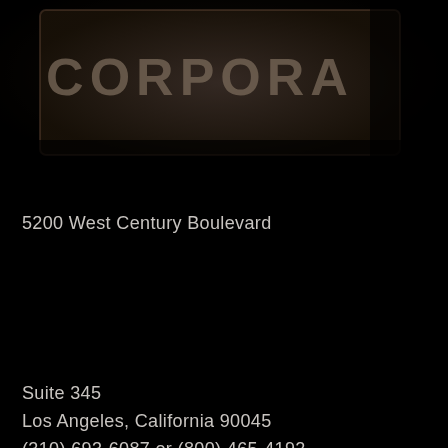[Figure (photo): Dark photograph showing a corporate sign or plaque with the word 'CORPORATE' partially visible, dimly lit against a dark background]
5200 West Century Boulevard
Suite 345
Los Angeles, California 90045
(310) 693-6087 or (800) 465-4192